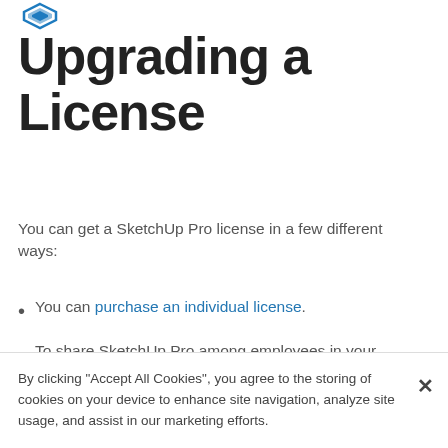SketchUp (logo)
Upgrading a License
You can get a SketchUp Pro license in a few different ways:
You can purchase an individual license.
To share SketchUp Pro among employees in your business, you can purchase a network license.
By clicking “Accept All Cookies”, you agree to the storing of cookies on your device to enhance site navigation, analyze site usage, and assist in our marketing efforts.